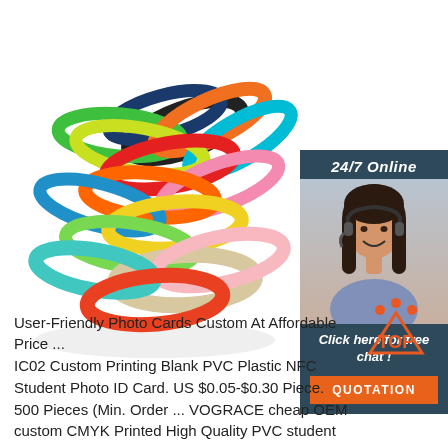[Figure (photo): Colorful silicone wristbands/bracelets in many colors piled together on white background]
[Figure (infographic): Chat widget with '24/7 Online' header, female customer service agent with headset, 'Click here for free chat!' text, and orange QUOTATION button]
[Figure (logo): Orange TOP badge logo with dots above the word TOP]
User-Friendly Photo Cards Custom At Affordable Price ... IC02 Custom Printing Blank PVC Plastic NFC Student Photo ID Card. US $0.05-$0.30 Piece. 500 Pieces (Min. Order ... VOGRACE cheap OEM custom CMYK Printed High Quality PVC student